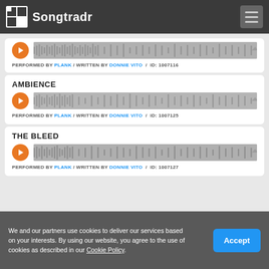Songtradr
PERFORMED BY PLANK / WRITTEN BY DONNIE VITO / ID: 1007116
AMBIENCE
PERFORMED BY PLANK / WRITTEN BY DONNIE VITO / ID: 1007125
THE BLEED
PERFORMED BY PLANK / WRITTEN BY DONNIE VITO / ID: 1007127
We and our partners use cookies to deliver our services based on your interests. By using our website, you agree to the use of cookies as described in our Cookie Policy.